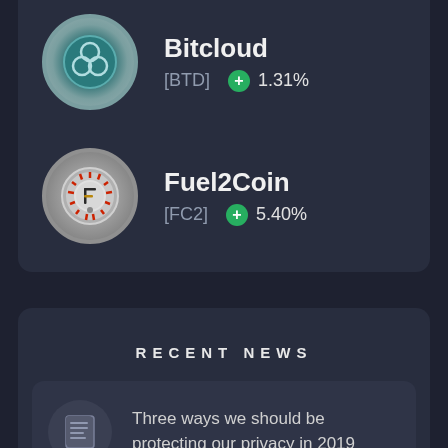Bitcloud [BTD] +1.31%
Fuel2Coin [FC2] +5.40%
RECENT NEWS
Three ways we should be protecting our privacy in 2019